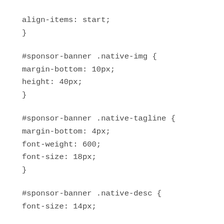align-items: start;
}
#sponsor-banner .native-img {
margin-bottom: 10px;
height: 40px;
}
#sponsor-banner .native-tagline {
margin-bottom: 4px;
font-weight: 600;
font-size: 18px;
}
#sponsor-banner .native-desc {
font-size: 14px;